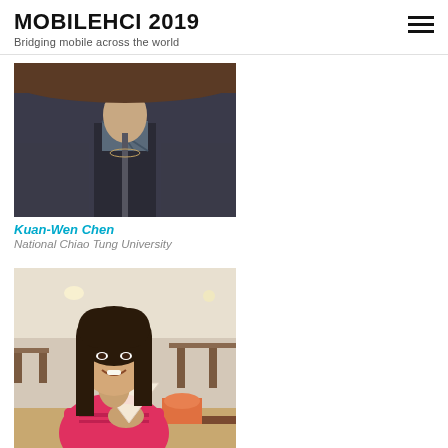MOBILEHCI 2019
Bridging mobile across the world
[Figure (photo): Partial photo of a person wearing a dark jacket, face cropped out, showing neck and jacket collar area]
Kuan-Wen Chen
National Chiao Tung University
[Figure (photo): Photo of a young woman with long dark hair, wearing a pink jacket, sitting at a table in what appears to be a cafeteria, smiling and holding a triangular paper item]
June Lai